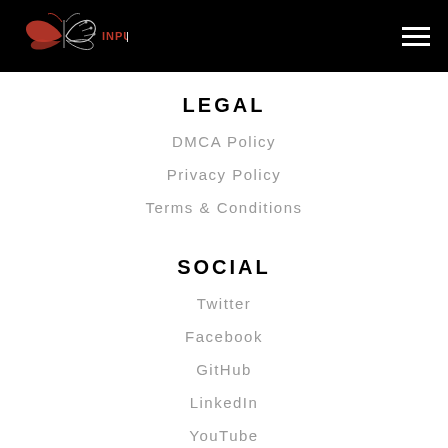INPUT | OUTPUT
LEGAL
DMCA Policy
Privacy Policy
Terms & Conditions
SOCIAL
Twitter
Facebook
GitHub
LinkedIn
YouTube